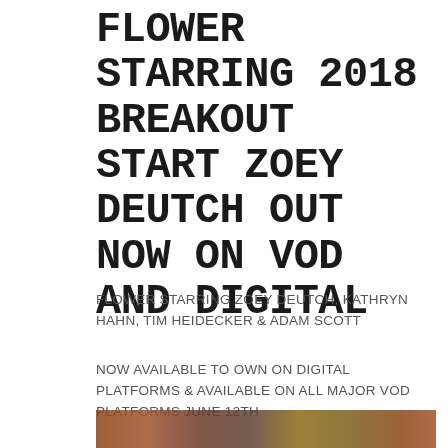FLOWER STARRING 2018 BREAKOUT START ZOEY DEUTCH OUT NOW ON VOD AND DIGITAL
FLOWER STARRING ZOEY DEUTCH, KATHRYN HAHN, TIM HEIDECKER & ADAM SCOTT
NOW AVAILABLE TO OWN ON DIGITAL PLATFORMS & AVAILABLE ON ALL MAJOR VOD PLATFORMS JUNE 12TH
[Figure (photo): Partial image strip at the bottom of the page showing what appears to be a movie still or promotional image]